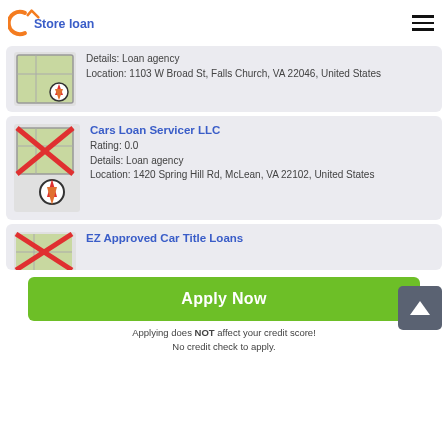Store loan
Details: Loan agency
Location: 1103 W Broad St, Falls Church, VA 22046, United States
Cars Loan Servicer LLC
Rating: 0.0
Details: Loan agency
Location: 1420 Spring Hill Rd, McLean, VA 22102, United States
EZ Approved Car Title Loans
Apply Now
Applying does NOT affect your credit score!
No credit check to apply.